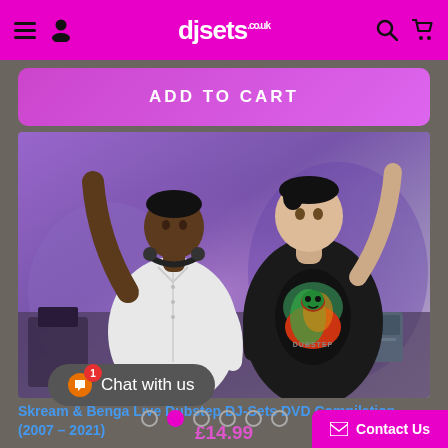djsets.co.uk navigation bar
ADD TO CART
[Figure (photo): Two DJs performing live on stage. Left DJ is a Black man in a white shirt with headphones around his neck, arm raised. Right DJ is in a black graphic t-shirt with arm raised. Purple/violet background lighting.]
Skream & Benga Live Dubstep DJ-Sets DVD Compilation (2007 – 2021)
£14.99
Chat with us
Contact Us